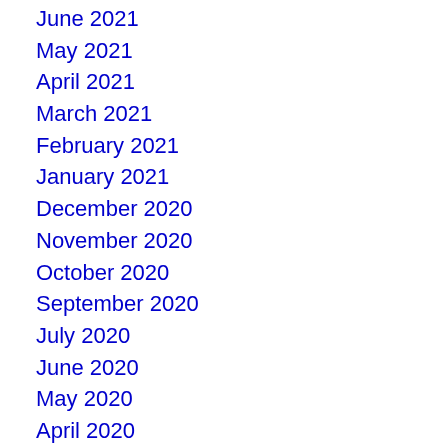June 2021
May 2021
April 2021
March 2021
February 2021
January 2021
December 2020
November 2020
October 2020
September 2020
July 2020
June 2020
May 2020
April 2020
December 2019